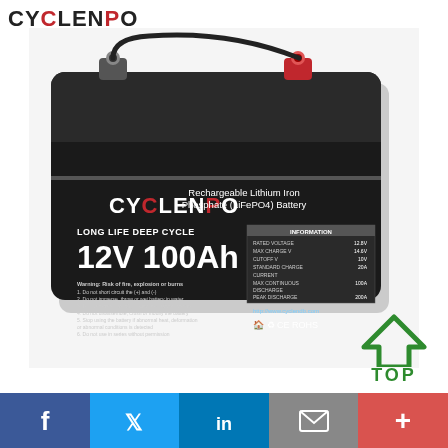[Figure (logo): CYCLENPO logo in black and red text]
[Figure (photo): CYCLENPO 12V 100Ah Rechargeable Lithium Iron Phosphate (LiFePO4) Battery product photo, black rectangular battery with two terminal posts and a cable, label shows LONG LIFE DEEP CYCLE with specification table]
[Figure (other): Green house/top icon with text TOP below it]
[Figure (other): Social media bar with Facebook, Twitter, LinkedIn, email, and plus buttons]